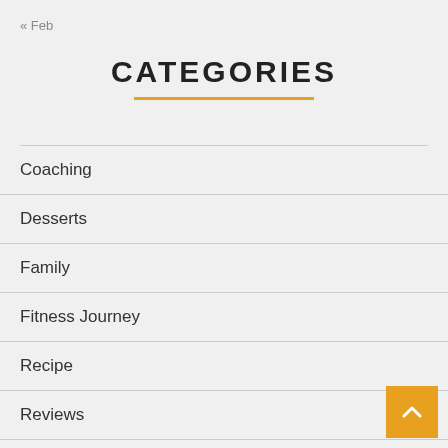« Feb
CATEGORIES
Coaching
Desserts
Family
Fitness Journey
Recipe
Reviews
Shakeology
TV
TV Appearances
Uncategorized